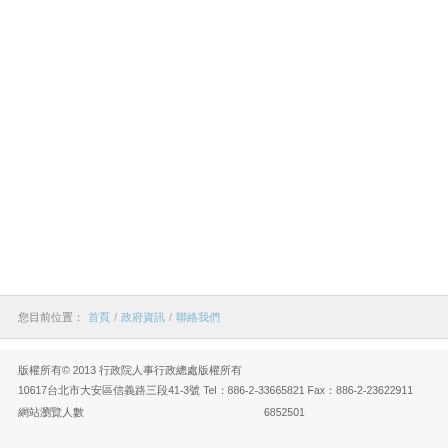您目前位置: 首頁 / 政府資訊 / 聯絡我們
版權所有© 2013 行政院人事行政總處版權所有
10617台北市大安區信義路三段41-3號 Tel：886-2-33665821 Fax：886-2-23622911
網站瀏覽人數　　　　　　　　　　　　6852501